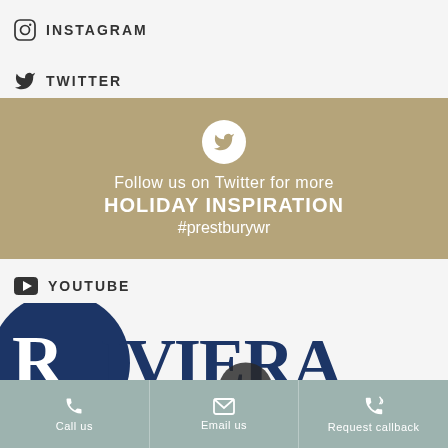INSTAGRAM
TWITTER
[Figure (infographic): Twitter promotional banner with bird icon, text: Follow us on Twitter for more HOLIDAY INSPIRATION #prestburywr]
YOUTUBE
[Figure (logo): Riviera logo - large blue circle with white serif text RIVIERA, with a video play button overlay]
Call us | Email us | Request callback